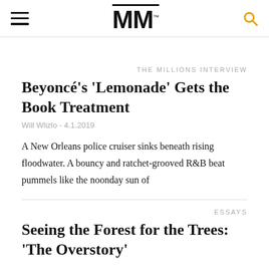MM (The Millions logo)
THE MILLIONS INTERVIEW
Beyoncé's 'Lemonade' Gets the Book Treatment
Will Wlizlo - 4.1.2019
A New Orleans police cruiser sinks beneath rising floodwater. A bouncy and ratchet-grooved R&B beat pummels like the noonday sun of
ESSAYS
Seeing the Forest for the Trees: 'The Overstory'